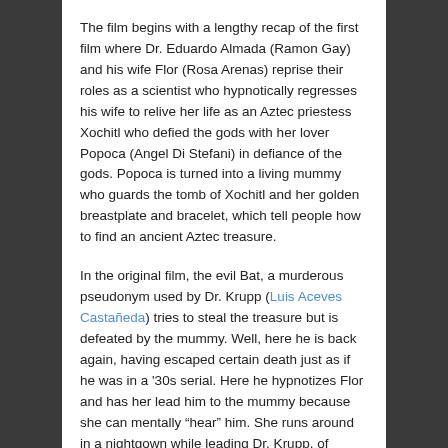The film begins with a lengthy recap of the first film where Dr. Eduardo Almada (Ramon Gay) and his wife Flor (Rosa Arenas) reprise their roles as a scientist who hypnotically regresses his wife to relive her life as an Aztec priestess Xochitl who defied the gods with her lover Popoca (Angel Di Stefani) in defiance of the gods. Popoca is turned into a living mummy who guards the tomb of Xochitl and her golden breastplate and bracelet, which tell people how to find an ancient Aztec treasure.
In the original film, the evil Bat, a murderous pseudonym used by Dr. Krupp (Luis Aceves Castañeda) tries to steal the treasure but is defeated by the mummy. Well, here he is back again, having escaped certain death just as if he was in a '30s serial. Here he hypnotizes Flor and has her lead him to the mummy because she can mentally "hear" him. She runs around in a nightgown while leading Dr. Krupp, of course.
The Bat is intent on building a human robot (Adolfo Rojas)